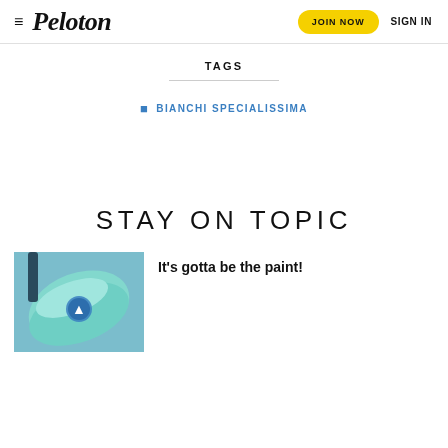Peloton  JOIN NOW  SIGN IN
TAGS
BIANCHI SPECIALISSIMA
STAY ON TOPIC
[Figure (photo): Close-up photo of a mint/celeste colored bicycle frame with a Bianchi eagle logo emblem on the tube, against a blue sky background]
It's gotta be the paint!